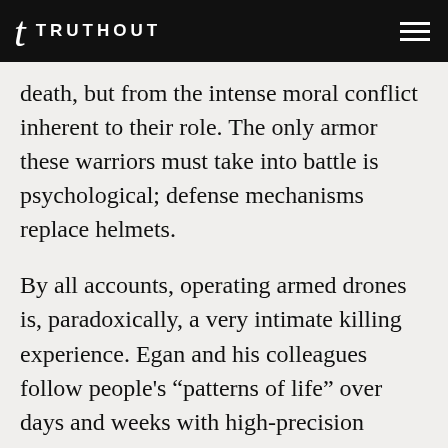TRUTHOUT
death, but from the intense moral conflict inherent to their role. The only armor these warriors must take into battle is psychological; defense mechanisms replace helmets.
By all accounts, operating armed drones is, paradoxically, a very intimate killing experience. Egan and his colleagues follow people’s “patterns of life” over days and weeks with high-precision infrared video cameras while they wait for orders from the CIA to fire in the vicinity of innocent civilians. As Egan is